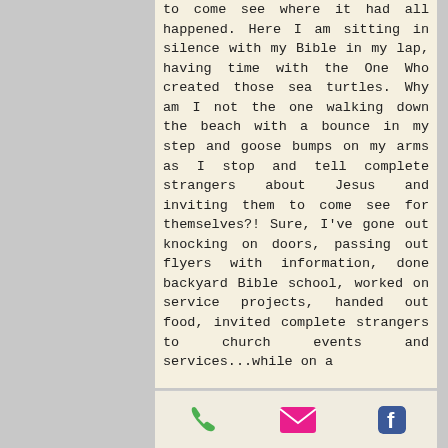to come see where it had all happened. Here I am sitting in silence with my Bible in my lap, having time with the One Who created those sea turtles. Why am I not the one walking down the beach with a bounce in my step and goose bumps on my arms as I stop and tell complete strangers about Jesus and inviting them to come see for themselves?! Sure, I've gone out knocking on doors, passing out flyers with information, done backyard Bible school, worked on service projects, handed out food, invited complete strangers to church events and services...while on a
[Figure (infographic): Mobile app toolbar with three icons: green phone icon, pink/magenta email envelope icon, and blue Facebook icon]